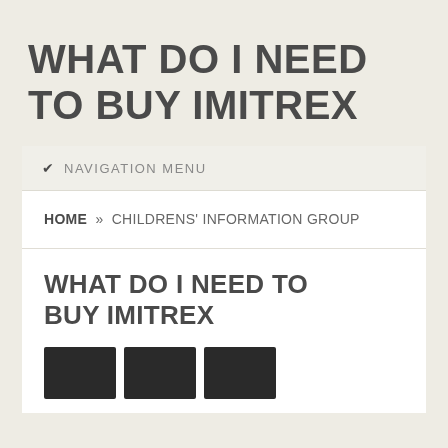WHAT DO I NEED TO BUY IMITREX
NAVIGATION MENU
HOME » CHILDRENS' INFORMATION GROUP
WHAT DO I NEED TO BUY IMITREX
[Figure (other): Row of three small dark thumbnail images at bottom of page]